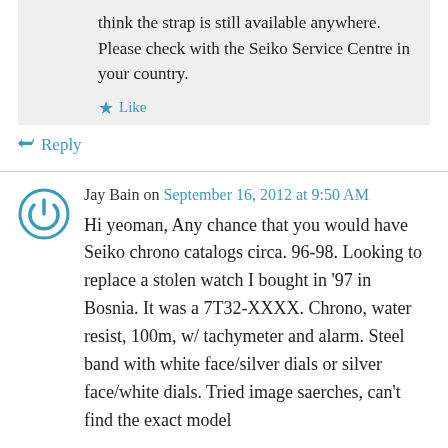think the strap is still available anywhere. Please check with the Seiko Service Centre in your country.
Like
Reply
Jay Bain on September 16, 2012 at 9:50 AM
Hi yeoman, Any chance that you would have Seiko chrono catalogs circa. 96-98. Looking to replace a stolen watch I bought in '97 in Bosnia. It was a 7T32-XXXX. Chrono, water resist, 100m, w/ tachymeter and alarm. Steel band with white face/silver dials or silver face/white dials. Tried image saerches, can't find the exact model